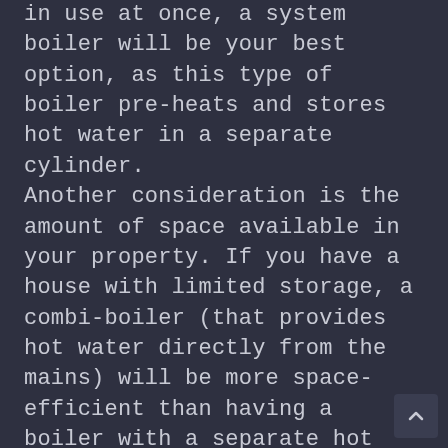in use at once, a system boiler will be your best option, as this type of boiler pre-heats and stores hot water in a separate cylinder. Another consideration is the amount of space available in your property. If you have a house with limited storage, a combi-boiler (that provides hot water directly from the mains) will be more space-efficient than having a boiler with a separate hot water tank.  For homes with a little more room, a storage combi could be a good alternative. These boilers are similar to combi boilers, but have a small cylinder as part of the boiler framework, meaning that they are able to provide hot water at a quicker rate than a standard combi boiler.